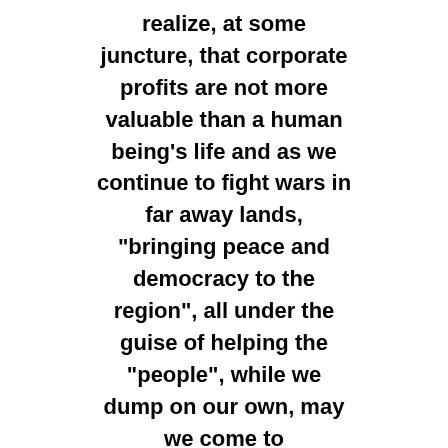realize, at some juncture, that corporate profits are not more valuable than a human being's life and as we continue to fight wars in far away lands, "bringing peace and democracy to the region", all under the guise of helping the "people", while we dump on our own, may we come to understand the INTENTION, the real intention of why we are at war to begin with